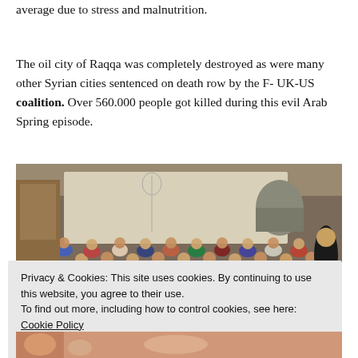average due to stress and malnutrition.
The oil city of Raqqa was completely destroyed as were many other Syrian cities sentenced on death row by the F-UK-US coalition. Over 560.000 people got killed during this evil Arab Spring episode.
[Figure (photo): A crowded room of children sitting together in what appears to be a makeshift classroom or shelter, with a whiteboard or sheet in the background.]
Privacy & Cookies: This site uses cookies. By continuing to use this website, you agree to their use.
To find out more, including how to control cookies, see here: Cookie Policy
Close and accept
[Figure (photo): Partial view of another photo at the bottom of the page.]